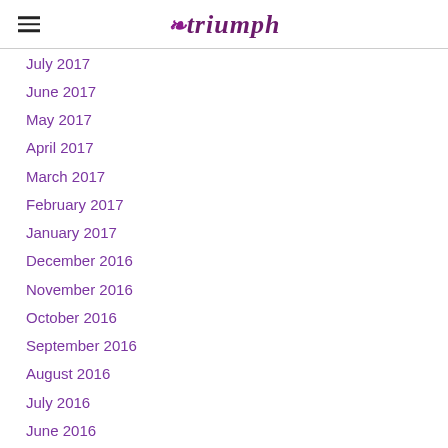triumph
July 2017
June 2017
May 2017
April 2017
March 2017
February 2017
January 2017
December 2016
November 2016
October 2016
September 2016
August 2016
July 2016
June 2016
May 2016
April 2016
March 2016
February 2016